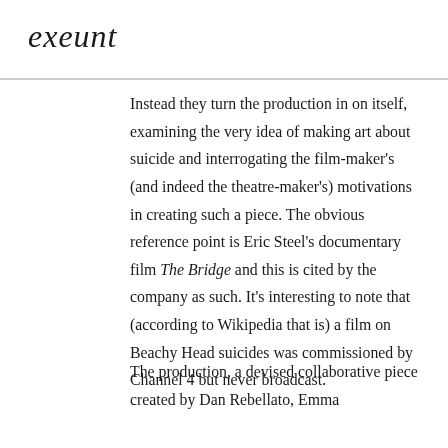exeunt
Instead they turn the production in on itself, examining the very idea of making art about suicide and interrogating the film-maker’s (and indeed the theatre-maker’s) motivations in creating such a piece. The obvious reference point is Eric Steel’s documentary film The Bridge and this is cited by the company as such. It’s interesting to note that (according to Wikipedia that is) a film on Beachy Head suicides was commissioned by Channel 4 but never broadcast.
The production, a devised collaborative piece created by Dan Rebellato, Emma